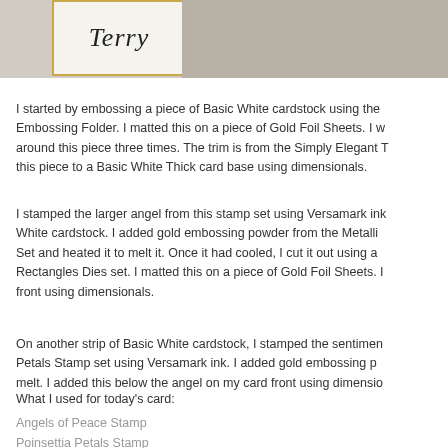[Figure (photo): Partial photo showing a handwritten name card reading 'Terry' with a gold border, resting on a weathered white wood surface. The right portion shows a grey/beige wood background.]
I started by embossing a piece of Basic White cardstock using the Embossing Folder. I matted this on a piece of Gold Foil Sheets. I wrapped around this piece three times. The trim is from the Simply Elegant T this piece to a Basic White Thick card base using dimensionals.
I stamped the larger angel from this stamp set using Versamark ink on Basic White cardstock. I added gold embossing powder from the Metallic Set and heated it to melt it. Once it had cooled, I cut it out using a Rectangles Dies set. I matted this on a piece of Gold Foil Sheets. I front using dimensionals.
On another strip of Basic White cardstock, I stamped the sentiment from Petals Stamp set using Versamark ink. I added gold embossing p melt. I added this below the angel on my card front using dimensio
What I used for today's card:
Angels of Peace Stamp
Poinsettia Petals Stamp